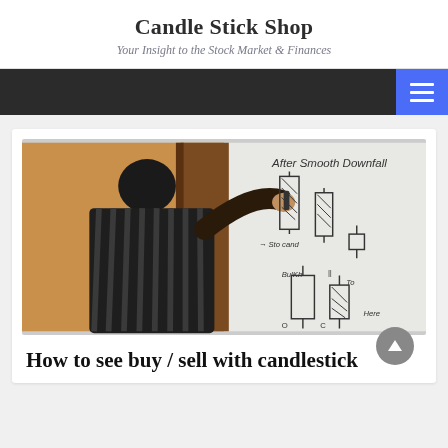Candle Stick Shop
Your Insight to the Stock Market & Finances
[Figure (photo): A man in a striped shirt pointing at a whiteboard showing candlestick chart diagrams with text 'After Smooth Downfall' written at the top]
How to see buy / sell with candlestick